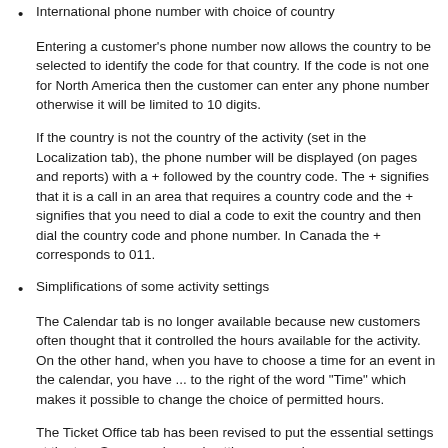International phone number with choice of country
Entering a customer's phone number now allows the country to be selected to identify the code for that country. If the code is not one for North America then the customer can enter any phone number otherwise it will be limited to 10 digits.
If the country is not the country of the activity (set in the Localization tab), the phone number will be displayed (on pages and reports) with a + followed by the country code. The + signifies that it is a call in an area that requires a country code and the + signifies that you need to dial a code to exit the country and then dial the country code and phone number. In Canada the + corresponds to 011.
Simplifications of some activity settings
The Calendar tab is no longer available because new customers often thought that it controlled the hours available for the activity. On the other hand, when you have to choose a time for an event in the calendar, you have ... to the right of the word "Time" which makes it possible to change the choice of permitted hours.
The Ticket Office tab has been revised to put the essential settings at the top. Some rarely used settings are no longer